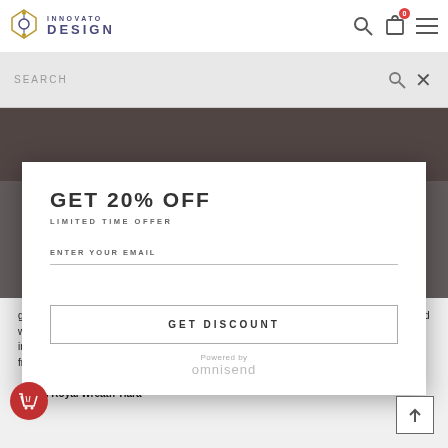[Figure (screenshot): Innovato Design website header with logo, search icon, bag icon with badge '0', and hamburger menu icon]
[Figure (screenshot): Search bar overlay with 'SEARCH' placeholder text and close X button]
[Figure (screenshot): Modal popup with 'GET 20% OFF' offer. Contains 'LIMITED TIME OFFER' subtitle, 'ENTER YOUR EMAIL' input field, and 'GET DISCOUNT' button. Powered by omnisend branding at bottom.]
guaranteed to provide a regal flair, exquisitely made with a 316L stainless frame, embellished with brilliant pieces of white crystals, topped with a set of simulated white pearls. The set includes a pair of floral-themed crystal and pearl stud earrings and a princess necklace. Get from HERE
Baden Royal Wreath Tiara